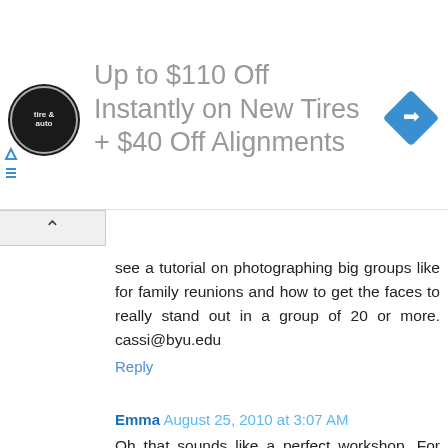[Figure (other): Advertisement banner: tire and auto service logo on left, large gray text 'Up to $110 Off Instantly on New Tires + $40 Off Alignments', blue diamond navigation icon on right, with nav arrows and collapse button]
see a tutorial on photographing big groups like for family reunions and how to get the faces to really stand out in a group of 20 or more. cassi@byu.edu
Reply
Emma August 25, 2010 at 3:07 AM
Oh that sounds like a perfect workshop. For the future I'd love to see advice on editing group shots - when there are four or more people in the photo noone is really big enough to spend hours making their eyes pop and skin perfect.
Reply
Leah August 25, 2010 at 3:13 AM
As an extremely new, but VERY enthusiastic